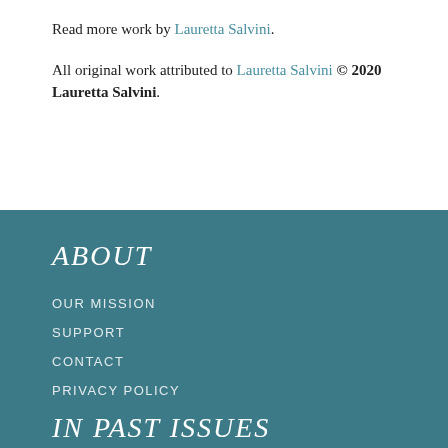Read more work by Lauretta Salvini.
All original work attributed to Lauretta Salvini © 2020 Lauretta Salvini.
ABOUT
OUR MISSION
SUPPORT
CONTACT
PRIVACY POLICY
IN PAST ISSUES